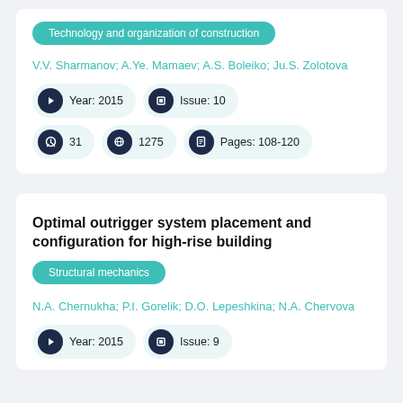Technology and organization of construction
V.V. Sharmanov; A.Ye. Mamaev; A.S. Boleiko; Ju.S. Zolotova
Year: 2015
Issue: 10
31
1275
Pages: 108-120
Optimal outrigger system placement and configuration for high-rise building
Structural mechanics
N.A. Chernukha; P.I. Gorelik; D.O. Lepeshkina; N.A. Chervova
Year: 2015
Issue: 9